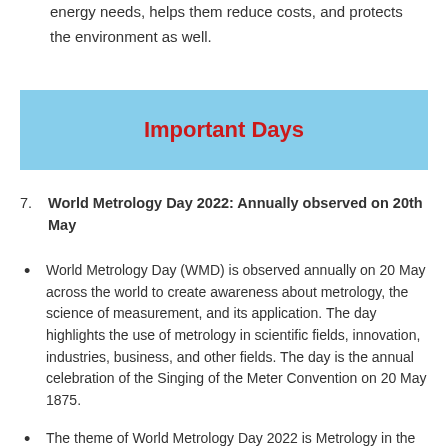energy needs, helps them reduce costs, and protects the environment as well.
Important Days
World Metrology Day 2022: Annually observed on 20th May
World Metrology Day (WMD) is observed annually on 20 May across the world to create awareness about metrology, the science of measurement, and its application. The day highlights the use of metrology in scientific fields, innovation, industries, business, and other fields. The day is the annual celebration of the Singing of the Meter Convention on 20 May 1875.
The theme of World Metrology Day 2022 is Metrology in the